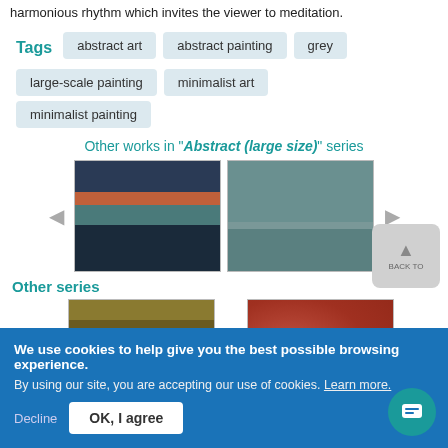harmonious rhythm which invites the viewer to meditation.
Tags  abstract art  abstract painting  grey  large-scale painting  minimalist art  minimalist painting
Other works in "Abstract (large size)" series
[Figure (photo): Carousel of two abstract paintings. Left: horizontal bands of dark blue, orange-red, teal, and dark. Right: grey-blue textural bands.]
Other series
[Figure (photo): Two more abstract paintings partially visible at bottom: left is dark gold/brown tones, right is red/orange textured.]
We use cookies to help give you the best possible browsing experience.
By using our site, you are accepting our use of cookies. Learn more.
Decline    OK, I agree